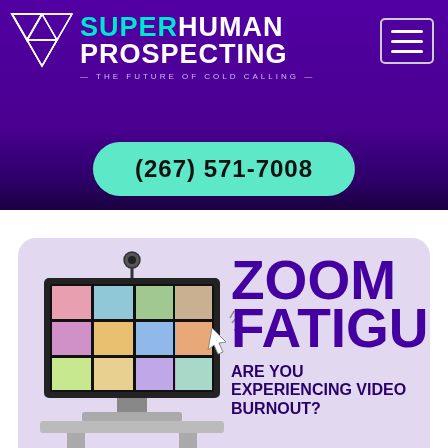[Figure (logo): Superhuman Prospecting logo with triangles and tagline 'The Future of Cold Calling']
(267) 571-7008
[Figure (infographic): Zoom Fatigue infographic showing a monitor with video call participants and text 'ZOOM FATIGUE - ARE YOU EXPERIENCING VIDEO BURNOUT?']